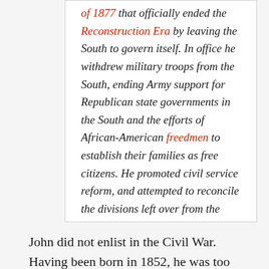of 1877 that officially ended the Reconstruction Era by leaving the South to govern itself. In office he withdrew military troops from the South, ending Army support for Republican state governments in the South and the efforts of African-American freedmen to establish their families as free citizens. He promoted civil service reform, and attempted to reconcile the divisions left over from the Civil War and Reconstruction.
John did not enlist in the Civil War. Having been born in 1852, he was too young to have enlisted. (I...